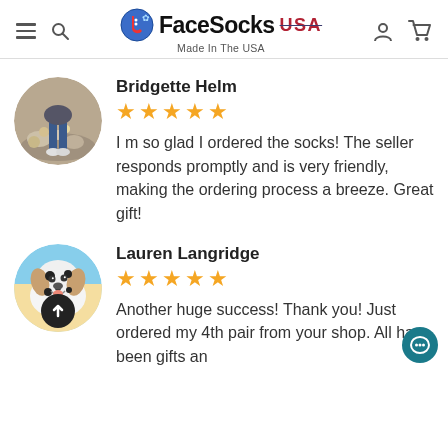FaceSocks USA — Made In The USA
Bridgette Helm
★★★★★
I m so glad I ordered the socks! The seller responds promptly and is very friendly, making the ordering process a breeze. Great gift!
Lauren Langridge
★★★★★
Another huge success! Thank you! Just ordered my 4th pair from your shop. All have been gifts an